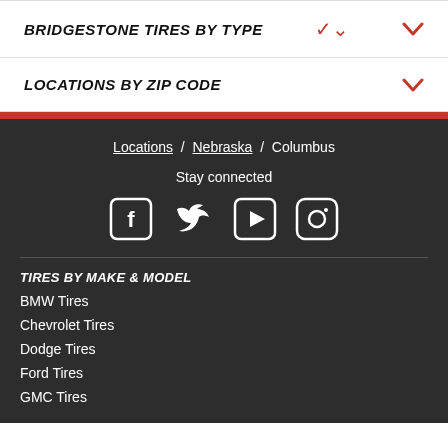BRIDGESTONE TIRES BY TYPE
LOCATIONS BY ZIP CODE
Locations / Nebraska / Columbus
Stay connected
[Figure (illustration): Social media icons: Facebook, Twitter, YouTube, Instagram]
TIRES BY MAKE & MODEL
BMW Tires
Chevrolet Tires
Dodge Tires
Ford Tires
GMC Tires